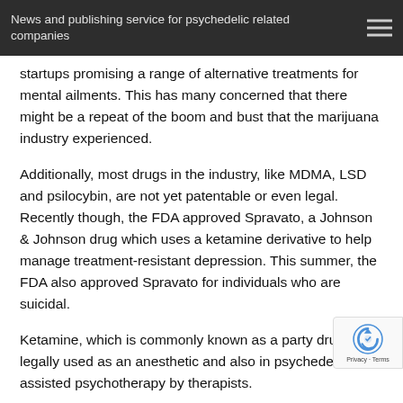News and publishing service for psychedelic related companies
startups promising a range of alternative treatments for mental ailments. This has many concerned that there might be a repeat of the boom and bust that the marijuana industry experienced.
Additionally, most drugs in the industry, like MDMA, LSD and psilocybin, are not yet patentable or even legal. Recently though, the FDA approved Spravato, a Johnson & Johnson drug which uses a ketamine derivative to help manage treatment-resistant depression. This summer, the FDA also approved Spravato for individuals who are suicidal.
Ketamine, which is commonly known as a party drug, is legally used as an anesthetic and also in psychedelic-assisted psychotherapy by therapists.
In 2018, the FDA gave breakthrough status to COMP360; which is Compass' therapy regimen. COMP360 is a crystalline form of psilocybin and Compass Pathways plans on using it jointly with therapy to help manage treatment-resistant depression. COMP360